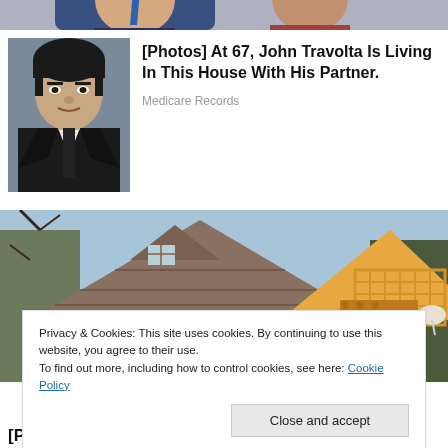[Figure (photo): Partial photo strip at top of page, showing two people, partially cropped]
[Figure (photo): Photo of a young John Travolta in black leather jacket, dark hair]
[Photos] At 67, John Travolta Is Living In This House With His Partner.
Medicare Records
[Figure (photo): Photo of a wooden A-frame log cabin house exterior with shingled roof and balcony, trees in background]
Privacy & Cookies: This site uses cookies. By continuing to use this website, you agree to their use.
To find out more, including how to control cookies, see here: Cookie Policy
Close and accept
[Pics] This Tiny Wood House Is Just 200 sq. ft